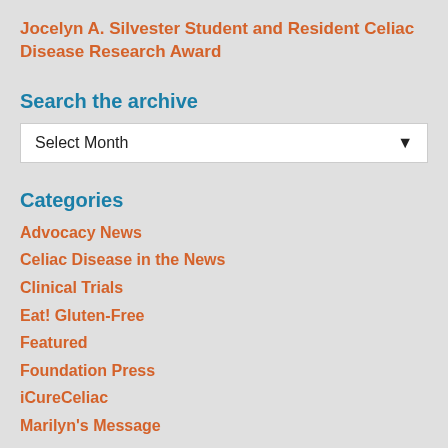Jocelyn A. Silvester Student and Resident Celiac Disease Research Award
Search the archive
Select Month
Categories
Advocacy News
Celiac Disease in the News
Clinical Trials
Eat! Gluten-Free
Featured
Foundation Press
iCureCeliac
Marilyn's Message